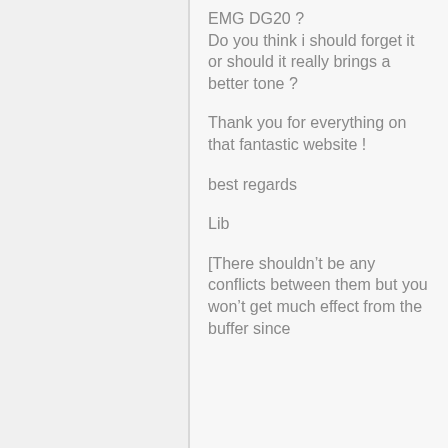EMG DG20 ? Do you think i should forget it or should it really brings a better tone ?
Thank you for everything on that fantastic website !
best regards
Lib
[There shouldn't be any conflicts between them but you won't get much effect from the buffer since